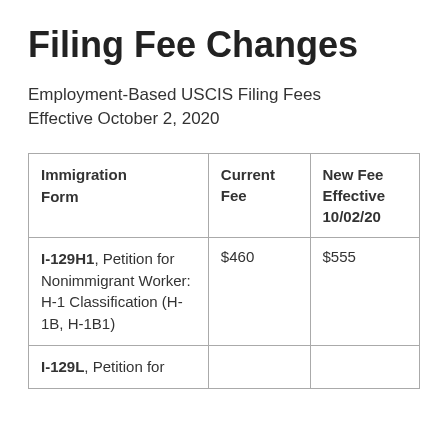Filing Fee Changes
Employment-Based USCIS Filing Fees Effective October 2, 2020
| Immigration Form | Current Fee | New Fee Effective 10/02/20 |
| --- | --- | --- |
| I-129H1, Petition for Nonimmigrant Worker: H-1 Classification (H-1B, H-1B1) | $460 | $555 |
| I-129L, Petition for |  |  |